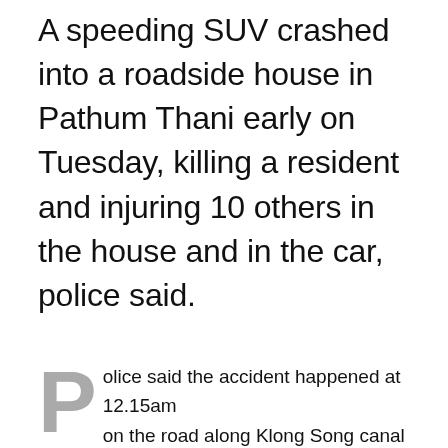A speeding SUV crashed into a roadside house in Pathum Thani early on Tuesday, killing a resident and injuring 10 others in the house and in the car, police said.
Police said the accident happened at 12.15am on the road along Klong Song canal in Tambon